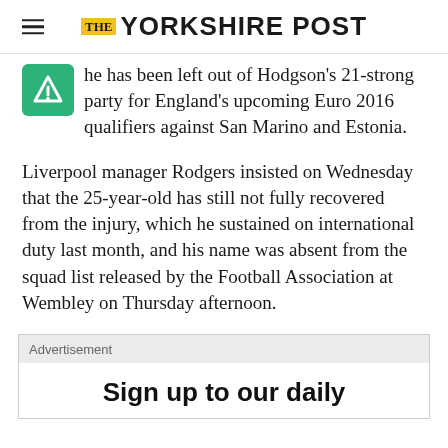THE YORKSHIRE POST
he has been left out of Hodgson's 21-strong party for England's upcoming Euro 2016 qualifiers against San Marino and Estonia.
Liverpool manager Rodgers insisted on Wednesday that the 25-year-old has still not fully recovered from the injury, which he sustained on international duty last month, and his name was absent from the squad list released by the Football Association at Wembley on Thursday afternoon.
Advertisement
Sign up to our daily